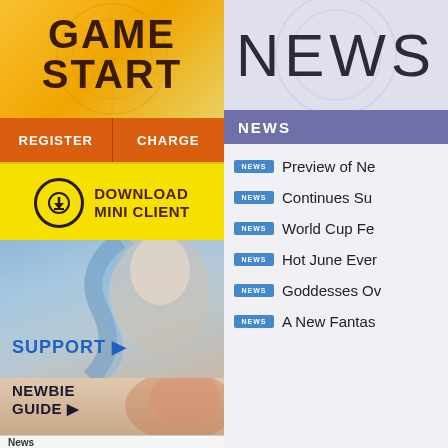[Figure (screenshot): Game Start banner with golden gradient background and decorative circular pattern]
GAME START
[Figure (screenshot): Register and Charge orange button bar]
[Figure (screenshot): Download Mini Client yellow button with download icon]
[Figure (illustration): Fantasy female character panel with SUPPORT link]
[Figure (illustration): Fantasy female warrior character panel with NEWBIE GUIDE link]
News
NEWS
NEWS
NEWS Preview of Ne...
NEWS Continues Su...
NEWS World Cup Fe...
NEWS Hot June Ever...
NEWS Goddesses Ov...
NEWS A New Fantas...